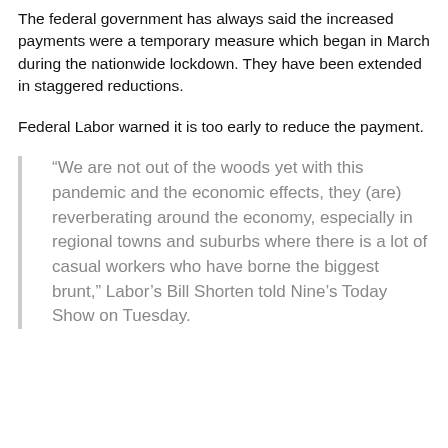The federal government has always said the increased payments were a temporary measure which began in March during the nationwide lockdown. They have been extended in staggered reductions.
Federal Labor warned it is too early to reduce the payment.
“We are not out of the woods yet with this pandemic and the economic effects, they (are) reverberating around the economy, especially in regional towns and suburbs where there is a lot of casual workers who have borne the biggest brunt,” Labor’s Bill Shorten told Nine’s Today Show on Tuesday.